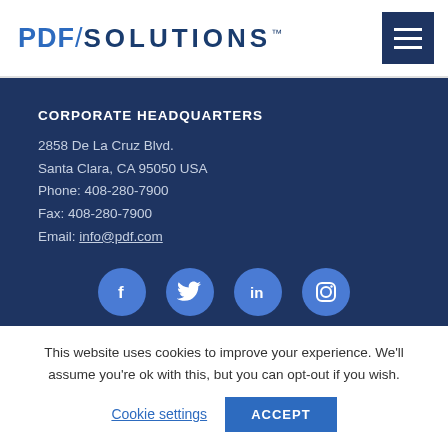PDF/SOLUTIONS™
CORPORATE HEADQUARTERS
2858 De La Cruz Blvd.
Santa Clara, CA 95050 USA
Phone: 408-280-7900
Fax: 408-280-7900
Email: info@pdf.com
[Figure (infographic): Social media icons: Facebook, Twitter, LinkedIn, Instagram — white icons on blue circles]
This website uses cookies to improve your experience. We'll assume you're ok with this, but you can opt-out if you wish.
Cookie settings   ACCEPT